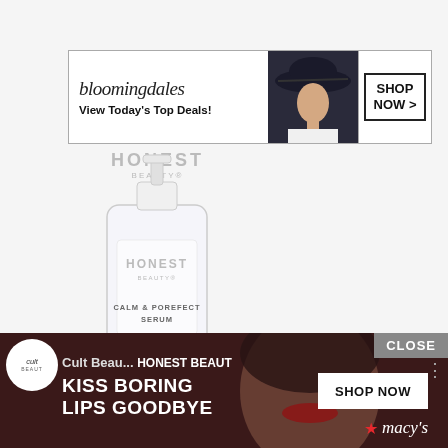[Figure (screenshot): Bloomingdales advertisement banner with logo, tagline 'View Today's Top Deals!', model in wide-brim hat, and 'SHOP NOW >' button]
[Figure (photo): Honest Beauty Calm & Porefect Serum product bottle - clear glass bottle with white label showing brand name HONEST BEAUTY and product text CALM & POREFECT SERUM serum]
[Figure (screenshot): Macy's advertisement banner with dark red/maroon background, model with red lips, text 'KISS BORING LIPS GOODBYE', 'SHOP NOW' button, and Macy's star logo. Also shows Cult Beauty logo circle and partial overlay text.]